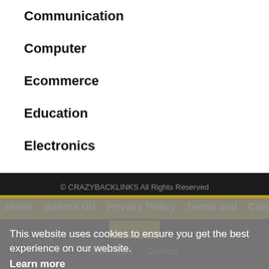Communication
Computer
Ecommerce
Education
Electronics
Energy
Entertainment
Events
This website uses cookies to ensure you get the best experience on our website.
Learn more
© CRAZYBACKLINKS All Rights Reserved
Home   Submit Url   Privacy Policy   Terms and Conditions   Got it!   Guidelines   Contact